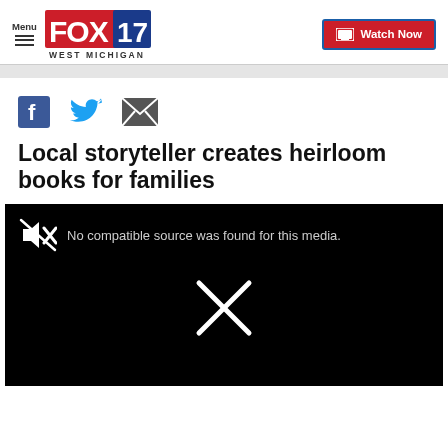Menu | FOX 17 WEST MICHIGAN | Watch Now
[Figure (screenshot): Social share icons row: Facebook, Twitter, Email]
Local storyteller creates heirloom books for families
[Figure (screenshot): Black video player with no compatible source error message and X icon]